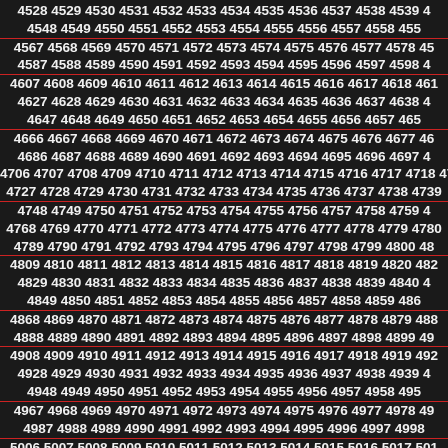Sequential number grid from 4528 to 5157+, displayed in rows of approximately 13 numbers each on a dark background with periodic red underlines.